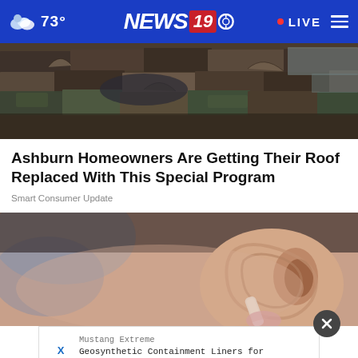73° NEWS 19 LIVE
[Figure (photo): Close-up photo of old, damaged roof shingles and wooden boards, peeling and weathered]
Ashburn Homeowners Are Getting Their Roof Replaced With This Special Program
Smart Consumer Update
[Figure (photo): Close-up photo of a person's ear with something being inserted into it]
Mustang Extreme
Geosynthetic Containment Liners for Landfills, ning, Coal Ash, Agriculture & Recreation.